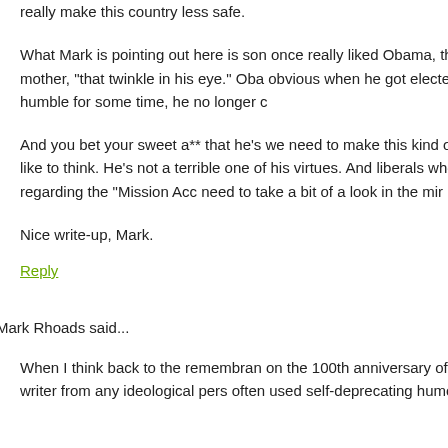really make this country less safe.
What Mark is pointing out here is son once really liked Obama, they no lon mother, "that twinkle in his eye." Ob obvious when he got elected, no long humble for some time, he no longer c
And you bet your sweet a** that he's we need to make this kind of thing ou would like to think. He's not a terrible one of his virtues. And liberals who li especially regarding the "Mission Acc need to take a bit of a look in the mir
Nice write-up, Mark.
Reply
Mark Rhoads said...
When I think back to the remembran on the 100th anniversary of his birth every writer from any ideological pers often used self-deprecating humor as